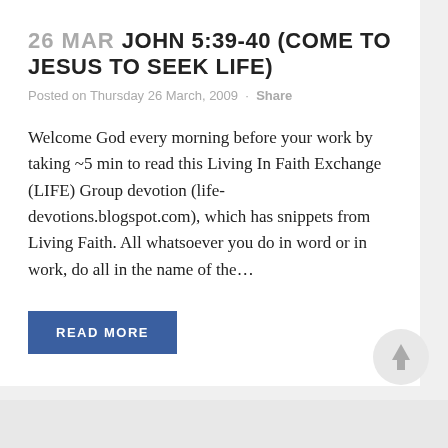26 MAR JOHN 5:39-40 (COME TO JESUS TO SEEK LIFE)
Posted on Thursday 26 March, 2009 · Share
Welcome God every morning before your work by taking ~5 min to read this Living In Faith Exchange (LIFE) Group devotion (life-devotions.blogspot.com), which has snippets from Living Faith. All whatsoever you do in word or in work, do all in the name of the...
READ MORE